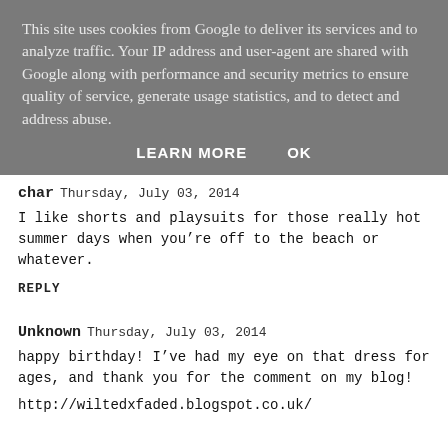This site uses cookies from Google to deliver its services and to analyze traffic. Your IP address and user-agent are shared with Google along with performance and security metrics to ensure quality of service, generate usage statistics, and to detect and address abuse.
LEARN MORE    OK
char  Thursday, July 03, 2014
I like shorts and playsuits for those really hot summer days when you’re off to the beach or whatever.
REPLY
Unknown  Thursday, July 03, 2014
happy birthday! I’ve had my eye on that dress for ages, and thank you for the comment on my blog!
http://wiltedxfaded.blogspot.co.uk/